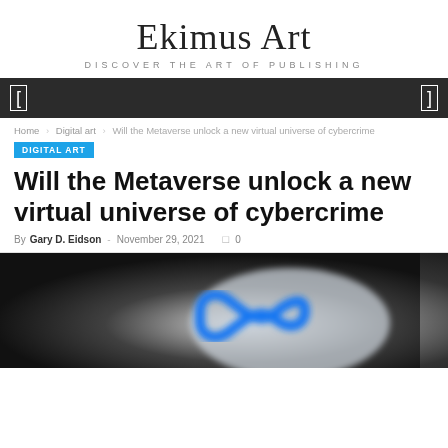Ekimus Art
DISCOVER THE ART OF PUBLISHING
Navigation bar
Home > Digital art > Will the Metaverse unlock a new virtual universe of cybercrime
DIGITAL ART
Will the Metaverse unlock a new virtual universe of cybercrime
By Gary D. Eidson - November 29, 2021  0
[Figure (photo): Blurred close-up photo of the Meta (Facebook) infinity logo symbol in blue against a grey/white blurred background]